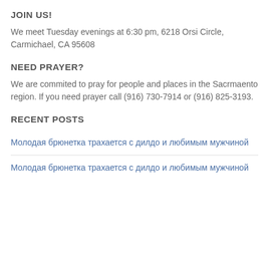JOIN US!
We meet Tuesday evenings at 6:30 pm, 6218 Orsi Circle, Carmichael, CA 95608
NEED PRAYER?
We are commited to pray for people and places in the Sacrmaento region. If you need prayer call (916) 730-7914 or (916) 825-3193.
RECENT POSTS
Молодая брюнетка трахается с дилдо и любимым мужчиной
Молодая брюнетка трахается с дилдо и любимым мужчиной